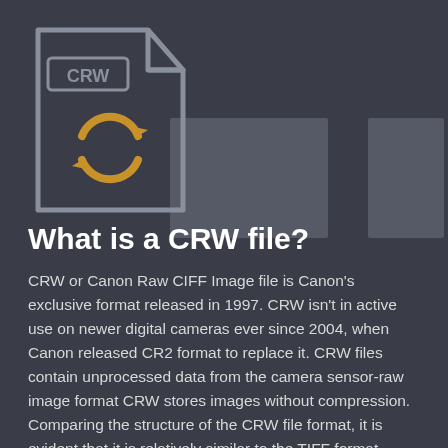[Figure (illustration): CRW file icon: a document outline with 'CRW' label and a golden circular refresh/convert arrow symbol in the center, on a dark background, along with two grey placeholder rectangles to the right]
What is a CRW file?
CRW or Canon Raw CIFF Image file is Canon's exclusive format released in 1997. CRW isn't in active use on newer digital cameras ever since 2004, when Canon released CR2 format to replace it. CRW files contain unprocessed data from the camera sensor-raw image format CRW stores images without compression. Comparing the structure of the CRW file format, it is evident that it is relatively similar to the TIFF format. Viewing and editing of CRW are possible with the